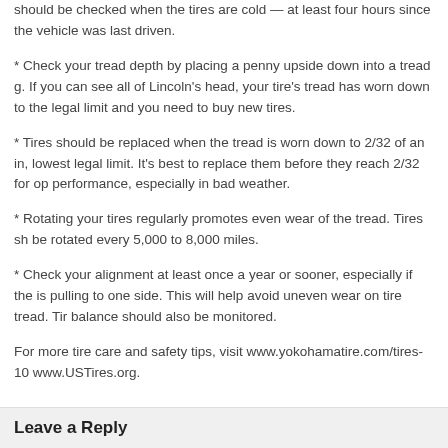should be checked when the tires are cold — at least four hours since the vehicle was last driven.
* Check your tread depth by placing a penny upside down into a tread g. If you can see all of Lincoln's head, your tire's tread has worn down to the legal limit and you need to buy new tires.
* Tires should be replaced when the tread is worn down to 2/32 of an in, lowest legal limit. It's best to replace them before they reach 2/32 for op performance, especially in bad weather.
* Rotating your tires regularly promotes even wear of the tread. Tires sh be rotated every 5,000 to 8,000 miles.
* Check your alignment at least once a year or sooner, especially if the is pulling to one side. This will help avoid uneven wear on tire tread. Tir balance should also be monitored.
For more tire care and safety tips, visit www.yokohamatire.com/tires-10 www.USTires.org.
Leave a Reply